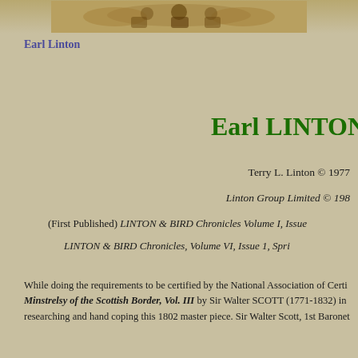[Figure (illustration): Decorative header image with ornamental figures or animals on a tan/brown background]
Earl Linton
Earl LINTON
Terry L. Linton © 1977
Linton Group Limited © 198...
(First Published) LINTON & BIRD Chronicles Volume I, Issue...
LINTON & BIRD Chronicles, Volume VI, Issue 1, Spri...
While doing the requirements to be certified by the National Association of Certi... Minstrelsy of the Scottish Border, Vol. III by Sir Walter SCOTT (1771-1832) in... researching and hand coping this 1802 master piece. Sir Walter Scott, 1st Baronet... 21, 1832. Walter was an Scottish historical novelist, playwright, and poet, popul... Walter Scott soured his research from The Memoire of the Somervilles writte... traditions of his family stories handed down to him.
Title: Minstrelsy of the Scottish Border, Vol. II THIRD EDITION. 1806. Consi... In The Southern Counties Of Scotland; With A Few Of Modern Date, Founded Up...
"The songs, to savage virtue dear.
That won of yore the public e...